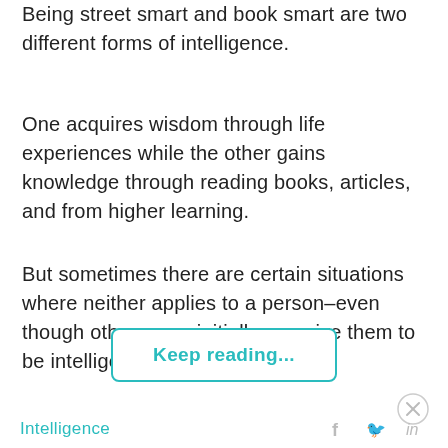Being street smart and book smart are two different forms of intelligence.
One acquires wisdom through life experiences while the other gains knowledge through reading books, articles, and from higher learning.
But sometimes there are certain situations where neither applies to a person–even though others may initially perceive them to be intelligent.
Keep reading...
Intelligence